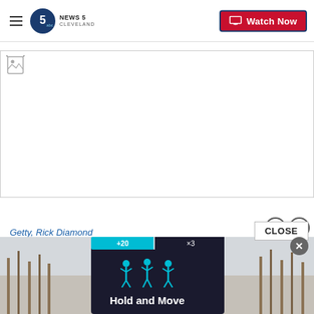News 5 Cleveland - Watch Now
[Figure (screenshot): Broken image placeholder (missing/failed image load) with a small broken image icon in top-left corner, white background with a light gray border]
Getty, Rick Diamond
[Figure (screenshot): Bottom advertisement banner showing a phone screen with a fitness/step counter app UI displaying blue figures and 'Hold and Move' text, overlaid on a winter outdoor scene with bare trees]